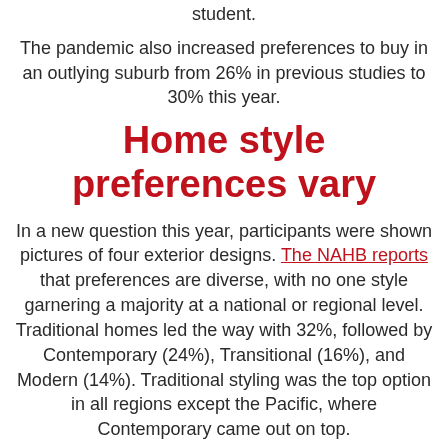student.
The pandemic also increased preferences to buy in an outlying suburb from 26% in previous studies to 30% this year.
Home style preferences vary
In a new question this year, participants were shown pictures of four exterior designs. The NAHB reports that preferences are diverse, with no one style garnering a majority at a national or regional level. Traditional homes led the way with 32%, followed by Contemporary (24%), Transitional (16%), and Modern (14%). Traditional styling was the top option in all regions except the Pacific, where Contemporary came out on top.
Shift in new vs. resale